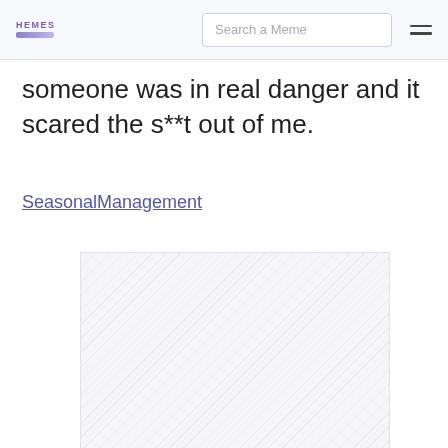HEMES | Search a Meme
someone was in real danger and it scared the s**t out of me.
SeasonalManagement
[Figure (photo): A loading or placeholder image area with diagonal stripe pattern, indicating an image that has not loaded.]